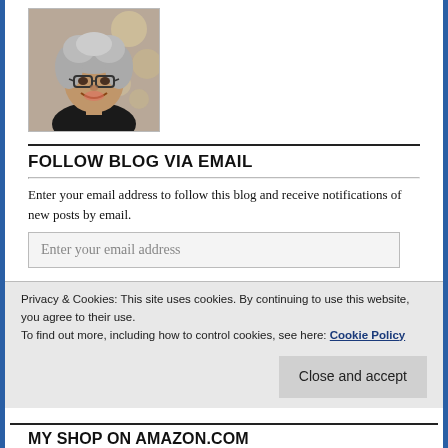[Figure (photo): Smiling woman with gray curly hair and glasses, wearing a dark top, photographed in front of a patterned background.]
FOLLOW BLOG VIA EMAIL
Enter your email address to follow this blog and receive notifications of new posts by email.
Enter your email address
Privacy & Cookies: This site uses cookies. By continuing to use this website, you agree to their use.
To find out more, including how to control cookies, see here: Cookie Policy
Close and accept
MY SHOP ON AMAZON.COM